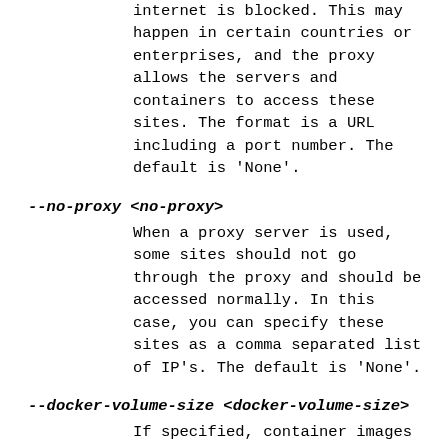internet is blocked. This may happen in certain countries or enterprises, and the proxy allows the servers and containers to access these sites. The format is a URL including a port number. The default is 'None'.
--no-proxy <no-proxy>
When a proxy server is used, some sites should not go through the proxy and should be accessed normally. In this case, you can specify these sites as a comma separated list of IP's. The default is 'None'.
--docker-volume-size <docker-volume-size>
If specified, container images will